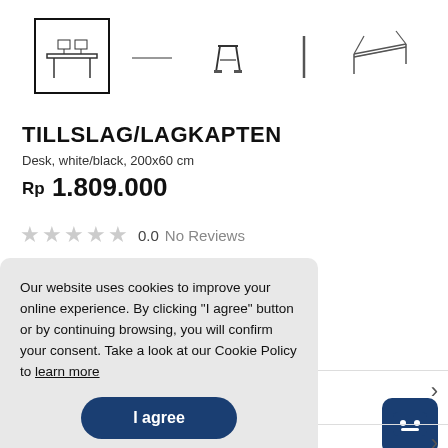[Figure (illustration): Product image thumbnails row: selected desk front view (black border), desk side arm view, desk stool view, desk leg view, desk angle view]
TILLSLAG/LAGKAPTEN
Desk, white/black, 200x60 cm
Rp 1.809.000
0.0  No Reviews
Our website uses cookies to improve your online experience. By clicking "I agree" button or by continuing browsing, you will confirm your consent. Take a look at our Cookie Policy to learn more
I agree
Color
White/black